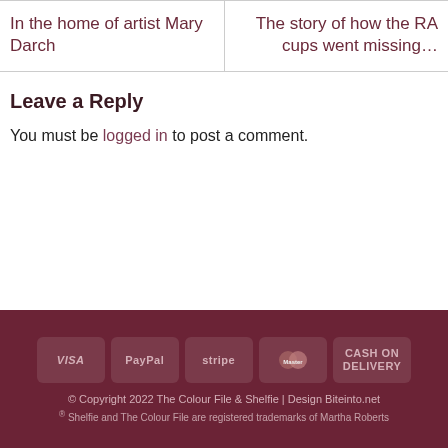In the home of artist Mary Darch
The story of how the RA cups went missing…
Leave a Reply
You must be logged in to post a comment.
[Figure (infographic): Payment method icons: VISA, PayPal, stripe, MasterCard, CASH ON DELIVERY]
© Copyright 2022 The Colour File & Shelfie | Design Biteinto.net
® Shelfie and The Colour File are registered trademarks of Martha Roberts